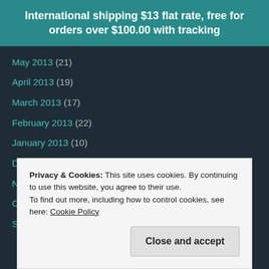International shipping $13 flat rate, free for orders over $100.00 with tracking
May 2013 (21)
April 2013 (19)
March 2013 (17)
February 2013 (22)
January 2013 (10)
December 2012 (16)
November 2012 (24)
October 2012 (25)
September 2012 (24)
Privacy & Cookies: This site uses cookies. By continuing to use this website, you agree to their use. To find out more, including how to control cookies, see here: Cookie Policy